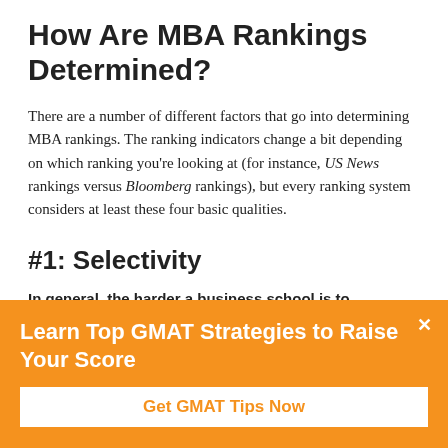How Are MBA Rankings Determined?
There are a number of different factors that go into determining MBA rankings. The ranking indicators change a bit depending on which ranking you're looking at (for instance, US News rankings versus Bloomberg rankings), but every ranking system considers at least these four basic qualities.
#1: Selectivity
In general, the harder a business school is to get into, the higher it ranked will be...
Learn Top GMAT Strategies to Raise Your Score
Get GMAT Tips Now